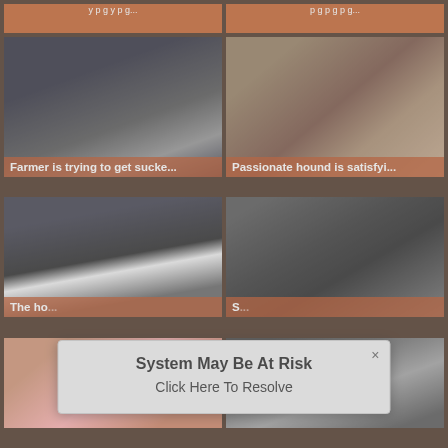[Figure (screenshot): Website thumbnail grid showing video thumbnails with titles. Top bar with two truncated labels.]
Farmer is trying to get sucke...
Passionate hound is satisfyi...
The ho...
System May Be At Risk
Click Here To Resolve